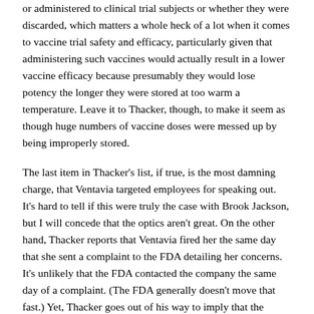or administered to clinical trial subjects or whether they were discarded, which matters a whole heck of a lot when it comes to vaccine trial safety and efficacy, particularly given that administering such vaccines would actually result in a lower vaccine efficacy because presumably they would lose potency the longer they were stored at too warm a temperature. Leave it to Thacker, though, to make it seem as though huge numbers of vaccine doses were messed up by being improperly stored.
The last item in Thacker's list, if true, is the most damning charge, that Ventavia targeted employees for speaking out. It's hard to tell if this were truly the case with Brook Jackson, but I will concede that the optics aren't great. On the other hand, Thacker reports that Ventavia fired her the same day that she sent a complaint to the FDA detailing her concerns. It's unlikely that the FDA contacted the company the same day of a complaint. (The FDA generally doesn't move that fast.) Yet, Thacker goes out of his way to imply that the reason she was